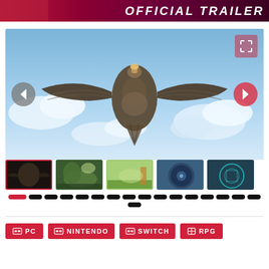[Figure (screenshot): Official Trailer banner with red/dark gradient background and white italic text reading OFFICIAL TRAILER]
[Figure (screenshot): Main large game screenshot showing a large bird-like creature with spread wings flying against a blue sky with clouds, with a navigation arrow on left and right, and an expand button top-right]
[Figure (screenshot): Row of 5 thumbnail screenshots from a game, first one selected/highlighted with red border showing the bird creature]
[Figure (other): Row of navigation dots/pills for image gallery, first dot highlighted in red]
PC
NINTENDO
SWITCH
RPG